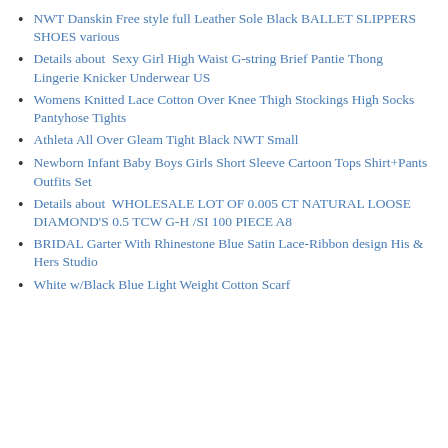NWT Danskin Free style full Leather Sole Black BALLET SLIPPERS SHOES various
Details about  Sexy Girl High Waist G-string Brief Pantie Thong Lingerie Knicker Underwear US
Womens Knitted Lace Cotton Over Knee Thigh Stockings High Socks Pantyhose Tights
Athleta All Over Gleam Tight Black NWT Small
Newborn Infant Baby Boys Girls Short Sleeve Cartoon Tops Shirt+Pants Outfits Set
Details about  WHOLESALE LOT OF 0.005 CT NATURAL LOOSE DIAMOND'S 0.5 TCW G-H /SI 100 PIECE A8
BRIDAL Garter With Rhinestone Blue Satin Lace-Ribbon design His & Hers Studio
White w/Black Blue Light Weight Cotton Scarf